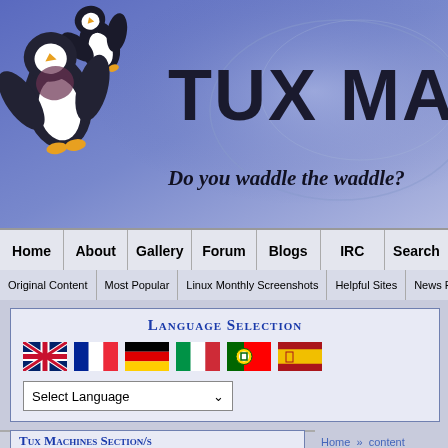[Figure (screenshot): Tux Machines website header banner with two flying penguins on the left and site title 'TUX MACHI' visible, subtitle 'Do you waddle the waddle?']
TUX MACHINES - Do you waddle the waddle?
Home | About | Gallery | Forum | Blogs | IRC | Search
Original Content | Most Popular | Linux Monthly Screenshots | Helpful Sites | News Feeds
Language Selection
[Figure (illustration): Row of national flags: UK, France, Germany, Italy, Portugal, Spain]
Select Language
Search this s
Tux Machines Section/s
[Figure (illustration): Tux the Linux penguin mascot standing]
Linux
Home » content
HMM Anonymous Memory Migration In T...